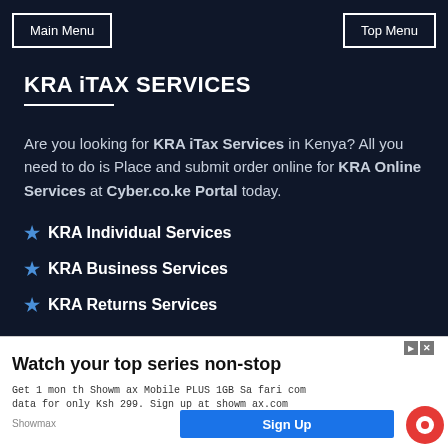Main Menu | Top Menu
KRA iTAX SERVICES
Are you looking for KRA iTax Services in Kenya? All you need to do is Place and submit order online for KRA Online Services at Cyber.co.ke Portal today.
★ KRA Individual Services
★ KRA Business Services
★ KRA Returns Services
[Figure (screenshot): Advertisement banner for Showmax: 'Watch your top series non-stop. Get 1 month Showmax Mobile PLUS 1GB Safaricom data for only Ksh299. Sign up at showmax.com. Sign Up button.']